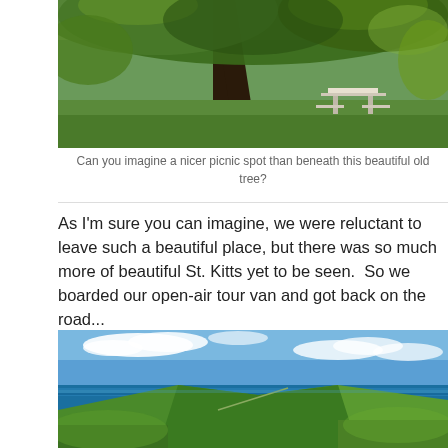[Figure (photo): A large old tree with spreading branches in a grassy park area, with a white picnic table visible beneath the canopy, lush green tropical vegetation]
Can you imagine a nicer picnic spot than beneath this beautiful old tree?
As I'm sure you can imagine, we were reluctant to leave such a beautiful place, but there was so much more of beautiful St. Kitts yet to be seen.  So we boarded our open-air tour van and got back on the road...
[Figure (photo): A scenic view from a hilltop showing green tropical hills sloping down to a bright blue ocean with clouds in the sky, St. Kitts landscape]